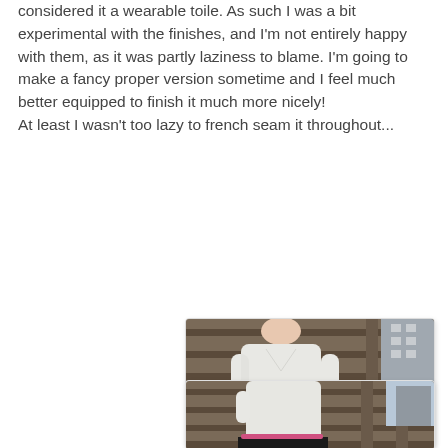considered it a wearable toile. As such I was a bit experimental with the finishes, and I'm not entirely happy with them, as it was partly laziness to blame. I'm going to make a fancy proper version sometime and I feel much better equipped to finish it much more nicely!
At least I wasn't too lazy to french seam it throughout...
[Figure (photo): A person wearing a white lace/textured short-sleeve top with a V-neckline and black skirt with a pink belt, standing in front of a wooden fence structure outdoors.]
[Figure (photo): A partial view of the same person from behind/side, wearing the white textured top and black skirt with pink belt, in front of the same wooden fence structure.]